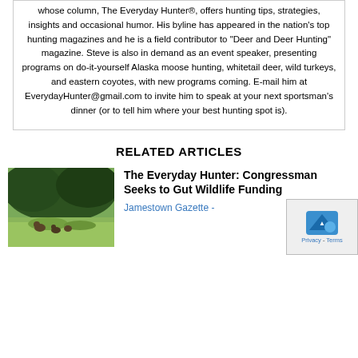whose column, The Everyday Hunter®, offers hunting tips, strategies, insights and occasional humor. His byline has appeared in the nation's top hunting magazines and he is a field contributor to "Deer and Deer Hunting" magazine. Steve is also in demand as an event speaker, presenting programs on do-it-yourself Alaska moose hunting, whitetail deer, wild turkeys, and eastern coyotes, with new programs coming. E-mail him at EverydayHunter@gmail.com to invite him to speak at your next sportsman's dinner (or to tell him where your best hunting spot is).
RELATED ARTICLES
[Figure (photo): Outdoor wildlife photo showing turkeys or deer in a grassy area with trees/shrubs in the background]
The Everyday Hunter: Congressman Seeks to Gut Wildlife Funding
Jamestown Gazette -